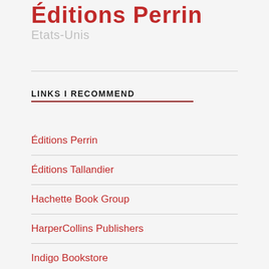Éditions Perrin Etats-Unis
LINKS I RECOMMEND
Éditions Perrin
Éditions Tallandier
Hachette Book Group
HarperCollins Publishers
Indigo Bookstore
Librairie Renaud-Bray